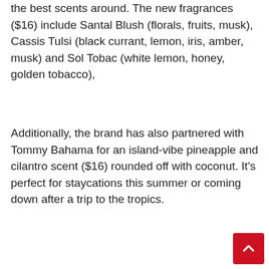the best scents around. The new fragrances ($16) include Santal Blush (florals, fruits, musk), Cassis Tulsi (black currant, lemon, iris, amber, musk) and Sol Tobac (white lemon, honey, golden tobacco),
Additionally, the brand has also partnered with Tommy Bahama for an island-vibe pineapple and cilantro scent ($16) rounded off with coconut. It's perfect for staycations this summer or coming down after a trip to the tropics.
One-and-done products for dewy skin
[Figure (photo): A woman's face and upper body, partial view, against a light blue-grey background]